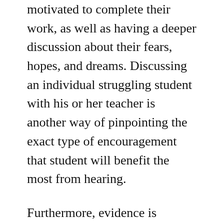motivated to complete their work, as well as having a deeper discussion about their fears, hopes, and dreams. Discussing an individual struggling student with his or her teacher is another way of pinpointing the exact type of encouragement that student will benefit the most from hearing.
Furthermore, evidence is overwhelming that teachers and parents continually offering words of encouragement to K-12 students makes a deep difference to their success in school. Along with sound advice, students need encouragement from teachers, parents, siblings, and peers so they can achieve great things with their studies and other endeavors. Because the encouragement of each piece of